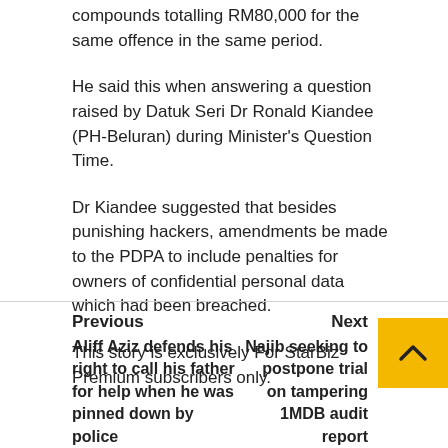compounds totalling RM80,000 for the same offence in the same period.
He said this when answering a question raised by Datuk Seri Dr Ronald Kiandee (PH-Beluran) during Minister's Question Time.
Dr Kiandee suggested that besides punishing hackers, amendments be made to the PDPA to include penalties for owners of confidential personal data which had been breached.
This story is exclusively For StarBiz Premium subscribers only.
Previous | Aliff Aziz defends his right to call his father for help when he was pinned down by police
Next | Najib seeking to postpone trial on tampering 1MDB audit report